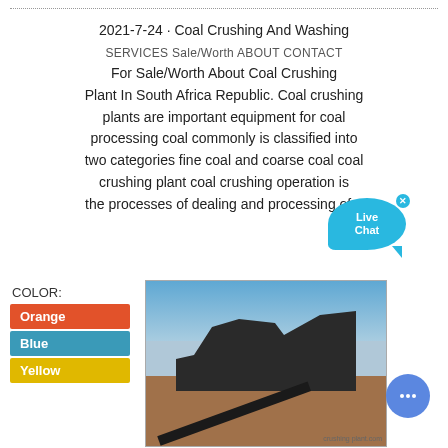2021-7-24 · Coal Crushing And Washing For Sale/Worth About Coal Crushing Plant In South Africa Republic. Coal crushing plants are important equipment for coal processing coal commonly is classified into two categories fine coal and coarse coal coal crushing plant coal crushing operation is the processes of dealing and processing of...
[Figure (screenshot): Navigation bar overlay with items: SERVICES, Sale/Worth, ABOUT, CONTACT]
[Figure (photo): A coal crushing plant with conveyor belts and heavy machinery at a mining site under a partly cloudy sky, in South Africa Republic.]
COLOR:
Orange
Blue
Yellow